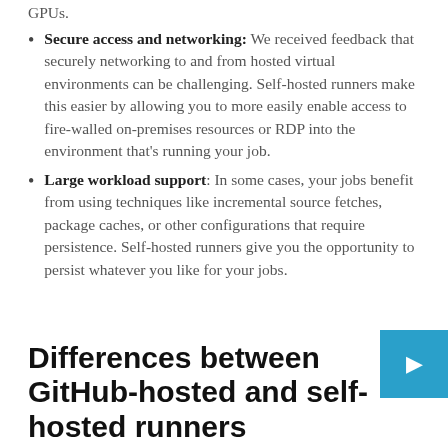Secure access and networking: We received feedback that securely networking to and from hosted virtual environments can be challenging. Self-hosted runners make this easier by allowing you to more easily enable access to fire-walled on-premises resources or RDP into the environment that’s running your job.
Large workload support: In some cases, your jobs benefit from using techniques like incremental source fetches, package caches, or other configurations that require persistence. Self-hosted runners give you the opportunity to persist whatever you like for your jobs.
Differences between GitHub-hosted and self-hosted runners